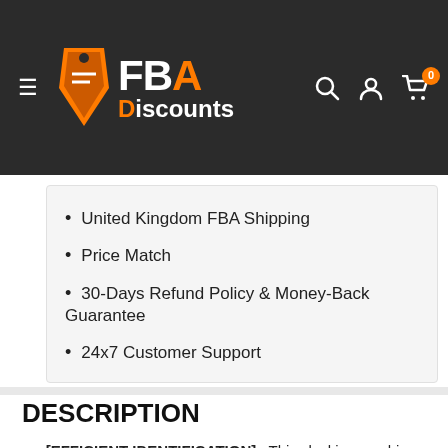[Figure (logo): FBA Discounts logo with orange tag icon on dark background header, with search, account, and cart icons]
United Kingdom FBA Shipping
Price Match
30-Days Refund Policy & Money-Back Guarantee
24x7 Customer Support
DESCRIPTION
[EFFICIENT IDENTIFICATION] : This clocking machine with 2.4 inch LCD screen adopts advanced fingerprint identification technology. The fingerprint time clock with biometric attendance effectively solves the fingerprint identification problems caused by